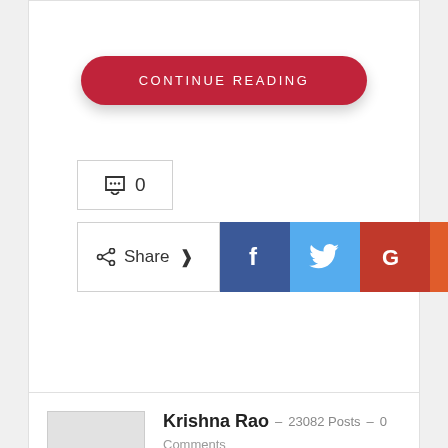CONTINUE READING
💬 0
Share
[Figure (screenshot): Social share buttons: Facebook (blue), Twitter (light blue), Google+ (red), Reddit (orange), WhatsApp (green)]
Krishna Rao – 23082 Posts – 0 Comments
I'm a video editor and a YouTuber. Loves